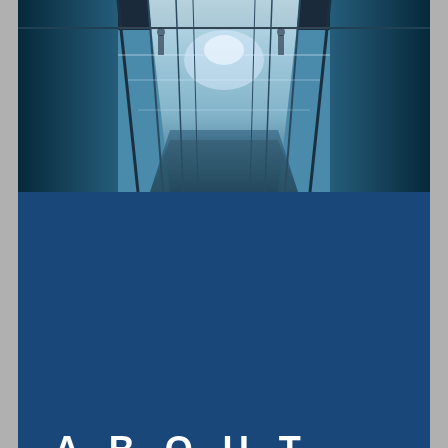[Figure (photo): Interior architectural photo of a modern glass building corridor with reflective floors and steel framing, showing a symmetrical perspective with blue-tinted glass panels and people silhouettes in background]
ABOUT
GLASGOW SHOP FRONTS
Glasgow Aluminium Shop Fronts was established in 2011 and specialise in the manufacturing and